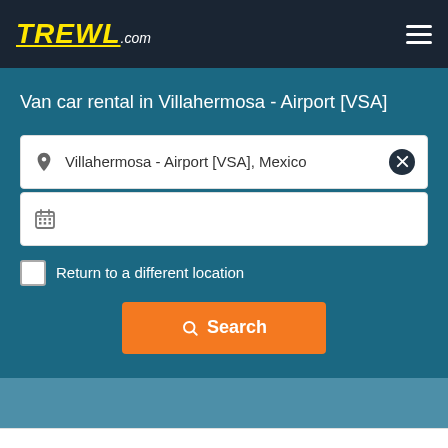TREWL.com
Van car rental in Villahermosa - Airport [VSA]
Villahermosa - Airport [VSA], Mexico
Return to a different location
Search
Van car rental near Villahermosa - Airport [VSA]